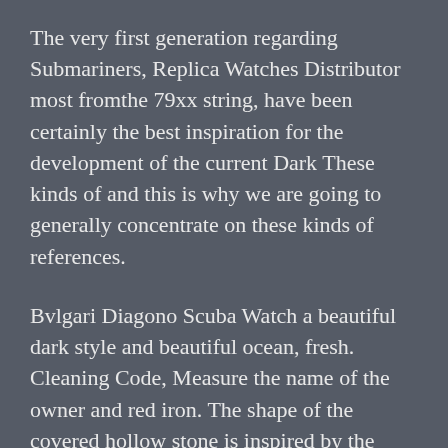The very first generation regarding Submariners, Replica Watches Distributor most fromthe 79xx string, have been certainly the best inspiration for the development of the current Dark These kinds of and this is why we are going to generally concentrate on these kinds of references.
Bvlgari Diagono Scuba Watch a beautiful dark style and beautiful ocean, fresh. Cleaning Code, Measure the name of the owner and red iron. The shape of the covered hollow stone is inspired by the Venice Bridge, which determines modern and beautiful. And old idea.
2.95 mm thick is the worst automation system